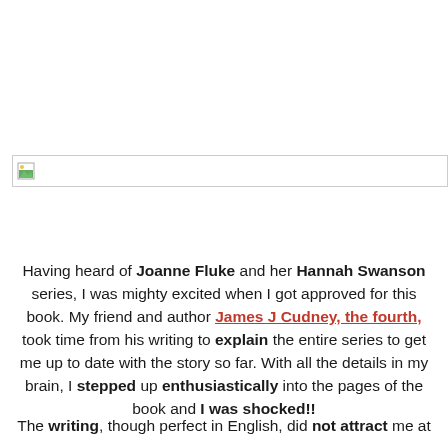[Figure (other): Broken image placeholder with small image icon and horizontal border line]
Having heard of Joanne Fluke and her Hannah Swanson series, I was mighty excited when I got approved for this book. My friend and author James J Cudney, the fourth, took time from his writing to explain the entire series to get me up to date with the story so far. With all the details in my brain, I stepped up enthusiastically into the pages of the book and I was shocked!!
The writing, though perfect in English, did not attract me at